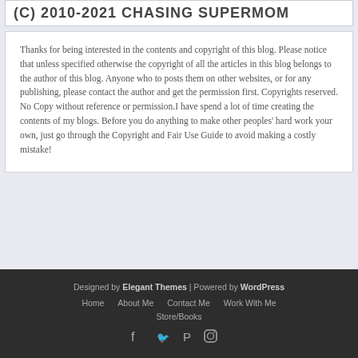(C) 2010-2021 CHASING SUPERMOM
Thanks for being interested in the contents and copyright of this blog. Please notice that unless specified otherwise the copyright of all the articles in this blog belongs to the author of this blog. Anyone who to posts them on other websites, or for any publishing, please contact the author and get the permission first. Copyrights reserved. No Copy without reference or permission.I have spend a lot of time creating the contents of my blogs. Before you do anything to make other peoples' hard work your own, just go through the Copyright and Fair Use Guide to avoid making a costly mistake!
Designed by Elegant Themes | Powered by WordPress
Home | About Me | Contact Me | Work With Me | Store/Books